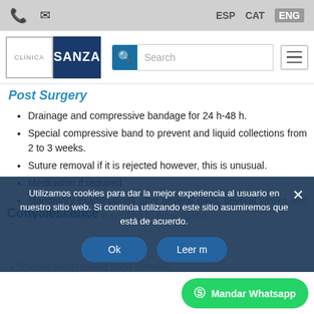ESP  CAT  ENG
[Figure (screenshot): Website navigation bar with Clinica Sanza logo, search bar, and hamburger menu]
Post Surgery
Drainage and compressive bandage for 24 h-48 h.
Special compressive band to prevent and liquid collections from 2 to 3 weeks.
Suture removal if it is rejected however, this is unusual.
Medication if required.
Mandatory examinations after several days, several weeks and several months, according to prescription.
Convalescence
Utilizamos cookies para dar la mejor experiencia al usuario en nuestro sitio web. Si continúa utilizando este sitio asumiremos que está de acuerdo.
Special compressive band removal,